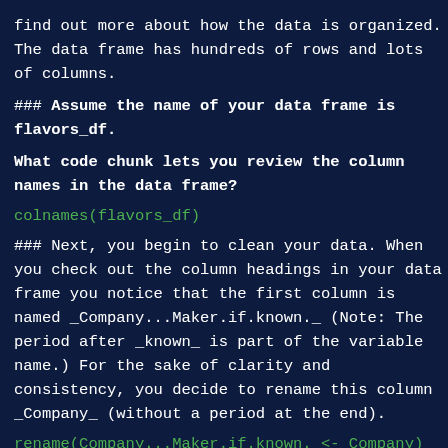find out more about how the data is organized. The data frame has hundreds of rows and lots of columns.
### **Assume the name of your data frame is flavors_df.**
**What code chunk lets you review the column names in the data frame?**
colnames(flavors_df)
### Next, you begin to clean your data. When you check out the column headings in your data frame you notice that the first column is named _Company...Maker.if.known._ (Note: The period after _known_ is part of the variable name.) For the sake of clarity and consistency, you decide to rename this column _Company_ (without a period at the end).
rename(Company...Maker.if.known. <- Company)
### After previewing and cleaning your data, you